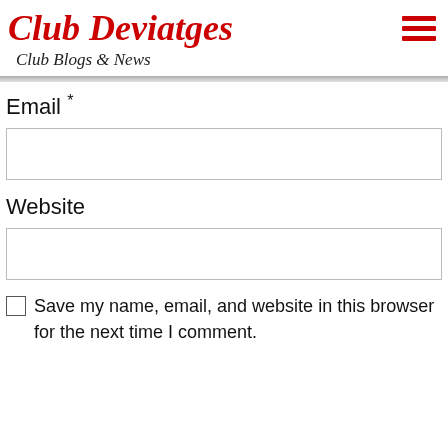Club Deviatges
Club Blogs & News
Email *
Website
Save my name, email, and website in this browser for the next time I comment.